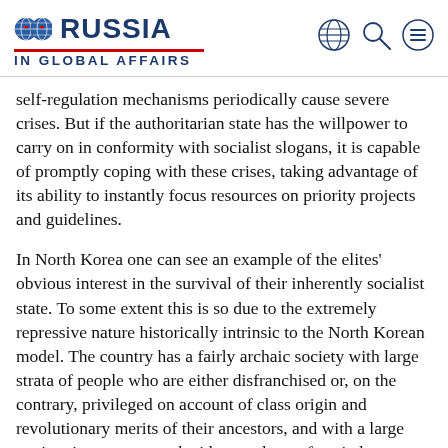RUSSIA IN GLOBAL AFFAIRS
self-regulation mechanisms periodically cause severe crises. But if the authoritarian state has the willpower to carry on in conformity with socialist slogans, it is capable of promptly coping with these crises, taking advantage of its ability to instantly focus resources on priority projects and guidelines.
In North Korea one can see an example of the elites' obvious interest in the survival of their inherently socialist state. To some extent this is so due to the extremely repressive nature historically intrinsic to the North Korean model. The country has a fairly archaic society with large strata of people who are either disfranchised or, on the contrary, privileged on account of class origin and revolutionary merits of their ancestors, and with a large penitentiary system and widespread use of capital punishment.